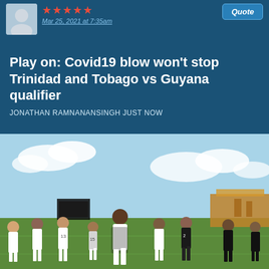Mar 25, 2021 at 7:35am
Play on: Covid19 blow won't stop Trinidad and Tobago vs Guyana qualifier
JONATHAN RAMNANANSINGH JUST NOW
[Figure (photo): Football players in white and dark training bibs jogging/running on a field during a training session, with stadium structures visible in the background under a partly cloudy sky.]